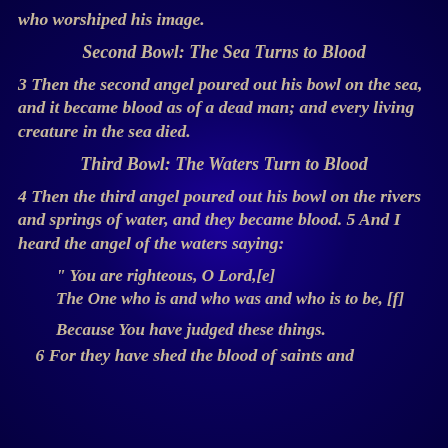who worshiped his image.
Second Bowl: The Sea Turns to Blood
3 Then the second angel poured out his bowl on the sea, and it became blood as of a dead man; and every living creature in the sea died.
Third Bowl: The Waters Turn to Blood
4 Then the third angel poured out his bowl on the rivers and springs of water, and they became blood. 5 And I heard the angel of the waters saying:
“ You are righteous, O Lord,[e]
The One who is and who was and who is to be, [f]
Because You have judged these things.
6 For they have shed the blood of saints and